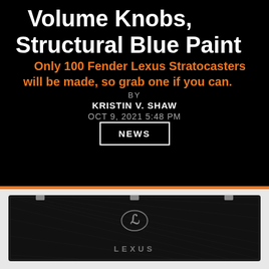Volume Knobs, Structural Blue Paint
Only 100 Fender Lexus Stratocasters will be made, so grab one if you can.
BY
KRISTIN V. SHAW
OCT 9, 2021 5:48 PM
NEWS
[Figure (photo): A dark carbon-fiber or textured black guitar case with the Lexus logo and wordmark centered on the front panel, with metal clasps along the top edge.]